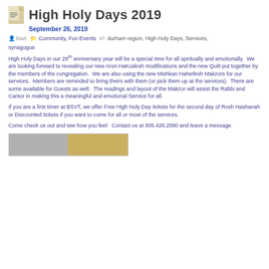High Holy Days 2019
September 26, 2019
bsvt   Community, Fun Events   durham region, High Holy Days, Services, synagogue
High Holy Days in our 25th anniversary year will be a special time for all spiritually and emotionally.  We are looking forward to revealing our new Aron HaKodesh modifications and the new Quilt put together by the members of the congregation.  We are also using the new Mishkan HaNefesh Makzors for our services.  Members are reminded to bring theirs with them (or pick them up at the services).  There are some available for Guests as well.  The readings and layout of the Makzor will assist the Rabbi and Cantor in making this a meaningful and emotional Service for all.
If you are a first timer at BSVT, we offer Free High Holy Day tickets for the second day of Rosh Hashanah or Discounted tickets if you want to come for all or most of the services.
Come check us out and see how you feel.  Contact us at 905.428.2580 and leave a message.
[Figure (photo): Partial thumbnail image showing grey and tan/gold colored sections at the bottom of the page]